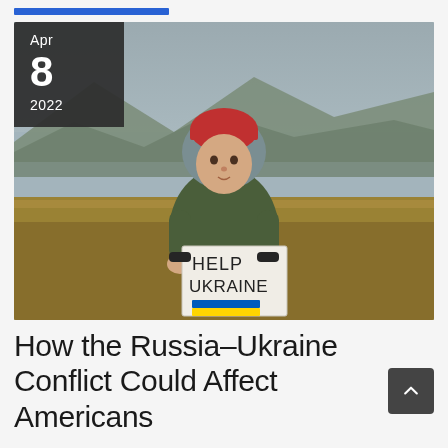[Figure (photo): A young child wearing a dark olive puffer jacket, gray hood, and red beanie hat, standing in an open field with dry grass and hazy mountains in the background. The child holds a handwritten sign reading 'HELP UKRAINE' with a blue and yellow Ukrainian flag stripe at the bottom. A date badge in the upper-left corner reads Apr 8 2022.]
How the Russia-Ukraine Conflict Could Affect Americans